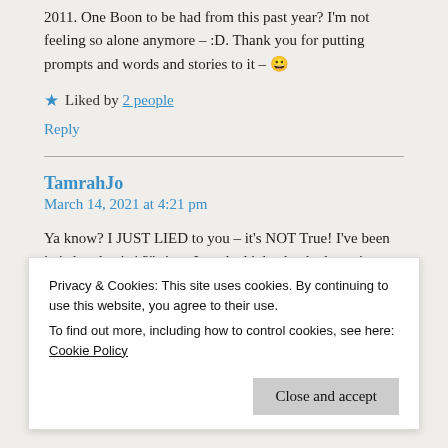2011. One Boon to be had from this past year? I'm not feeling so alone anymore – :D. Thank you for putting prompts and words and stories to it – 😀
★ Liked by 2 people
Reply
TamrahJo
March 14, 2021 at 4:21 pm
Ya know? I JUST LIED to you – it's NOT True! I've been in 'what day is it?' since I worked jobs that had rotating shifts and sometimes marathon work shifts too – the stroke made it even harder to navigate via the 'fail safes' I put into working – 24/7 jobs for so long – sigh – I needed my...
take that affects many!!! – LOL
Privacy & Cookies: This site uses cookies. By continuing to use this website, you agree to their use.
To find out more, including how to control cookies, see here: Cookie Policy